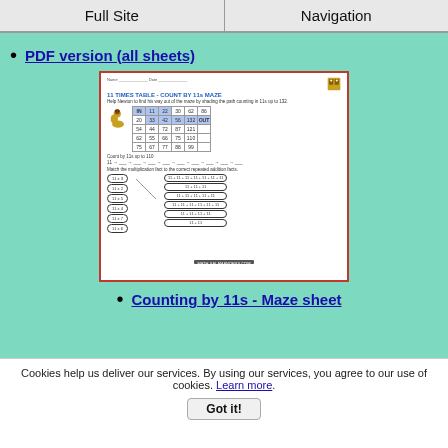Full Site | Navigation
PDF version (all sheets)
[Figure (illustration): Preview of a worksheet titled '11 TIMES TABLE - COUNT BY 11s MAZE' showing a maze grid with numbers, a snake illustration, counting sequence, and multiplication matching activity.]
Counting by 11s - Maze sheet
Cookies help us deliver our services. By using our services, you agree to our use of cookies. Learn more.
Got it!